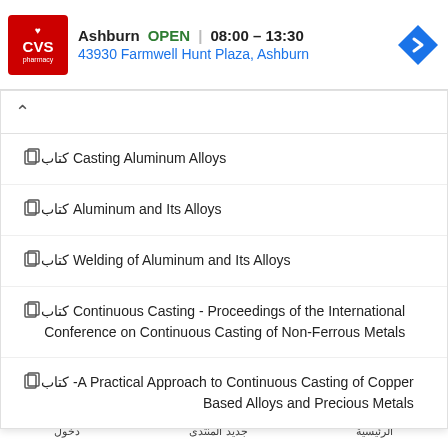[Figure (screenshot): CVS Pharmacy ad banner showing Ashburn location, OPEN status, hours 08:00-13:30, address 43930 Farmwell Hunt Plaza Ashburn, with navigation arrow icon]
كتاب Casting Aluminum Alloys
كتاب Aluminum and Its Alloys
كتاب Welding of Aluminum and Its Alloys
كتاب Continuous Casting - Proceedings of the International Conference on Continuous Casting of Non-Ferrous Metals
كتاب A Practical Approach to Continuous Casting of Copper-Based Alloys and Precious Metals
الرئيسية | جديد المنتدى | دخول